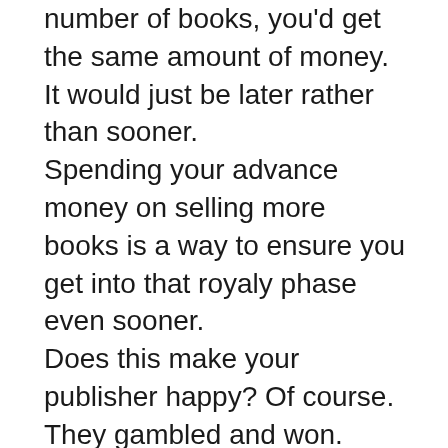number of books, you'd get the same amount of money. It would just be later rather than sooner. Spending your advance money on selling more books is a way to ensure you get into that royaly phase even sooner. Does this make your publisher happy? Of course. They gambled and won. But so did you. Because you get a higher advance. A bigger print run. More promotional dollars. Your backlist stays in print. Your sales reps push your books harder. You're talked about in-house. Everyone wants to be a part of a winning team. I didn't have a book tour for my first